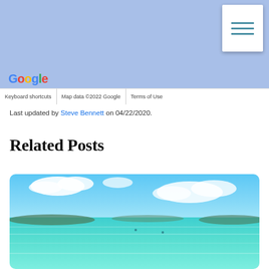[Figure (screenshot): Google Maps aerial/satellite view showing light blue water/map background with Google logo at bottom left and map controls card at top right]
Keyboard shortcuts | Map data ©2022 Google | Terms of Use
Last updated by Steve Bennett on 04/22/2020.
Related Posts
[Figure (photo): Beach photo showing clear turquoise water, blue sky with white clouds, and distant shoreline with hills]